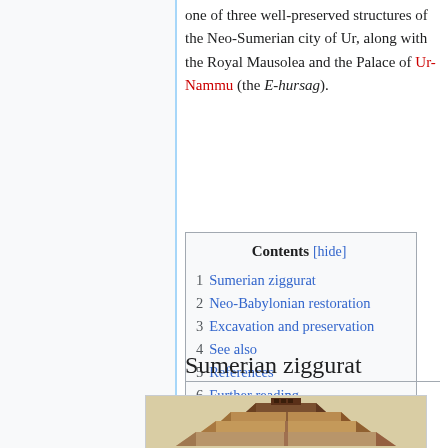one of three well-preserved structures of the Neo-Sumerian city of Ur, along with the Royal Mausolea and the Palace of Ur-Nammu (the E-hursag).
| Contents |
| --- |
| 1  Sumerian ziggurat |
| 2  Neo-Babylonian restoration |
| 3  Excavation and preservation |
| 4  See also |
| 5  References |
| 6  Further reading |
| 7  External links |
Sumerian ziggurat
[Figure (illustration): Artistic reconstruction illustration of the Ziggurat of Ur showing the multi-tiered mud-brick stepped temple structure from an aerial perspective.]